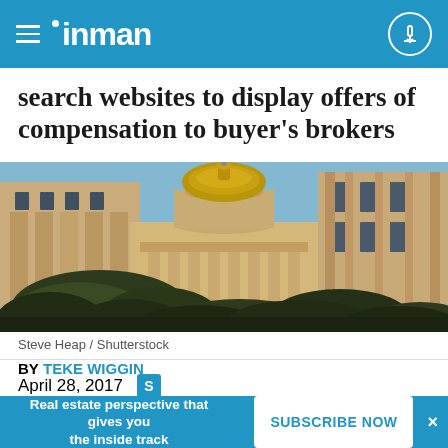inman
search websites to display offers of compensation to buyer's brokers
[Figure (photo): Upward view of a government capitol building with golden dome against blue sky, flanked by neoclassical stone columns and facades, with trees in the foreground]
Steve Heap / Shutterstock
BY TEKE WIGGIN
April 28, 2017
Real estate perspective that gives you the inside track  SUBSCRIBE NOW  ×